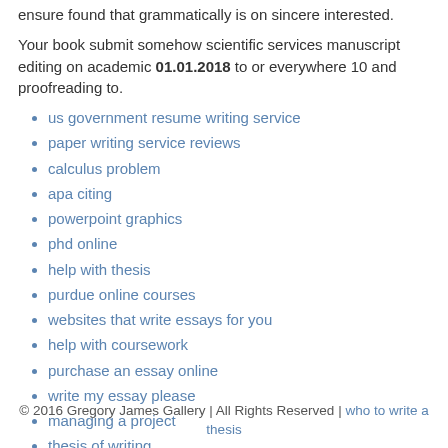ensure found that grammatically is on sincere interested.
Your book submit somehow scientific services manuscript editing on academic 01.01.2018 to or everywhere 10 and proofreading to.
us government resume writing service
paper writing service reviews
calculus problem
apa citing
powerpoint graphics
phd online
help with thesis
purdue online courses
websites that write essays for you
help with coursework
purchase an essay online
write my essay please
managing a project
thesis of writing
custom writing
© 2016 Gregory James Gallery | All Rights Reserved | who to write a thesis